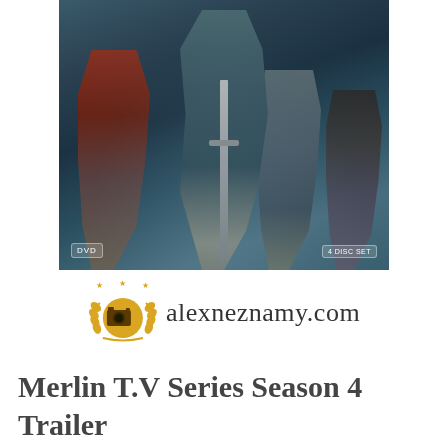[Figure (photo): DVD cover of Merlin TV Series Season 4 showing multiple characters with a sword in the foreground, with DVD and 4 Disc Set badges]
[Figure (logo): alexneznamy.com logo with gold film camera icon surrounded by laurel wreath and three stars, with website name in cursive script]
Merlin T.V Series Season 4 Trailer